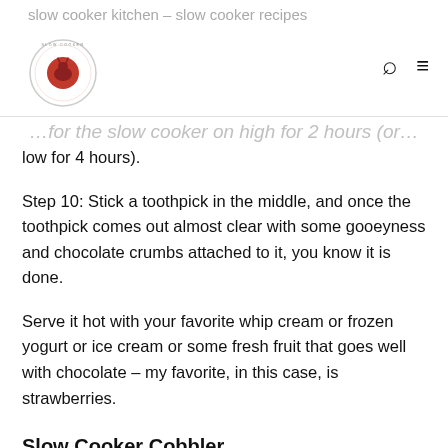slow cooker kitchen – slow cooker recipes
low for 4 hours).
Step 10: Stick a toothpick in the middle, and once the toothpick comes out almost clear with some gooeyness and chocolate crumbs attached to it, you know it is done.
Serve it hot with your favorite whip cream or frozen yogurt or ice cream or some fresh fruit that goes well with chocolate – my favorite, in this case, is strawberries.
Slow Cooker Cobbler